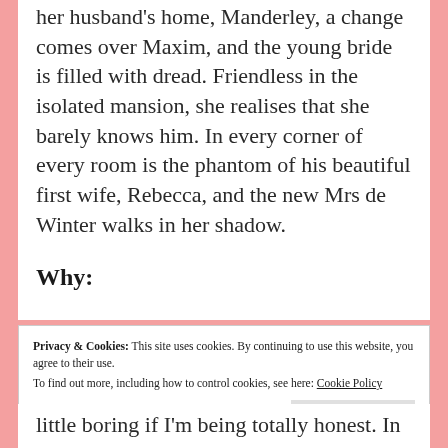her husband's home, Manderley, a change comes over Maxim, and the young bride is filled with dread. Friendless in the isolated mansion, she realises that she barely knows him. In every corner of every room is the phantom of his beautiful first wife, Rebecca, and the new Mrs de Winter walks in her shadow.
Why:
Privacy & Cookies: This site uses cookies. By continuing to use this website, you agree to their use. To find out more, including how to control cookies, see here: Cookie Policy
little boring if I'm being totally honest. In